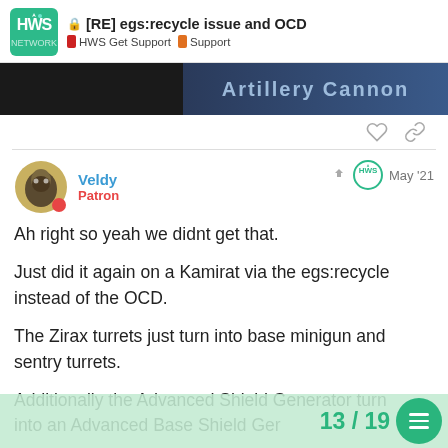[RE] egs:recycle issue and OCD — HWS Get Support > Support
[Figure (screenshot): Partial screenshot showing 'Artillery Cannon' text on a dark blue game UI background]
Veldy
Patron
May '21
Ah right so yeah we didnt get that.
Just did it again on a Kamirat via the egs:recycle instead of the OCD.
The Zirax turrets just turn into base minigun and sentry turrets.
Additionally the Advanced Shield Generator turn into an Advanced Base Shield Ger
13 / 19